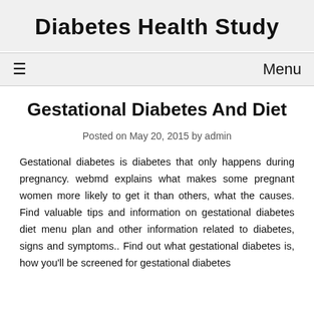Diabetes Health Study
Menu
Gestational Diabetes And Diet
Posted on May 20, 2015 by admin
Gestational diabetes is diabetes that only happens during pregnancy. webmd explains what makes some pregnant women more likely to get it than others, what the causes. Find valuable tips and information on gestational diabetes diet menu plan and other information related to diabetes, signs and symptoms.. Find out what gestational diabetes is, how you'll be screened for gestational diabetes